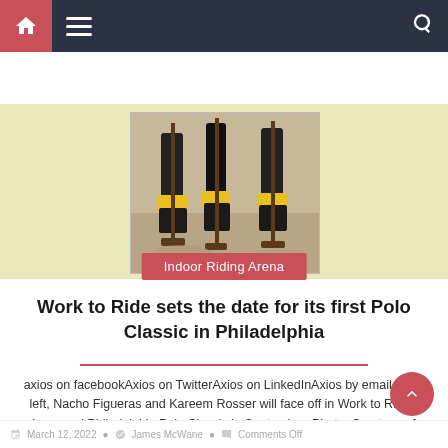Navigation bar with home icon, hamburger menu, and search icon
[Figure (photo): Partial view of polo players' feet and mallets on sandy ground, with yellow boots visible]
Indoor Riding Arena
Work to Ride sets the date for its first Polo Classic in Philadelphia
axios on facebookAxios on TwitterAxios on LinkedInAxios by email From left, Nacho Figueras and Kareem Rosser will face off in Work to Ride's inaugural Philadelphia Polo Classic in September. Photo: Courtesy of Hugh E. Dillon A Philadelphia nonprofit that runs an equestrian program to help low-income youth is hosting its first Polo Classic on September [...]
March 12, 2022  |  Comments Off